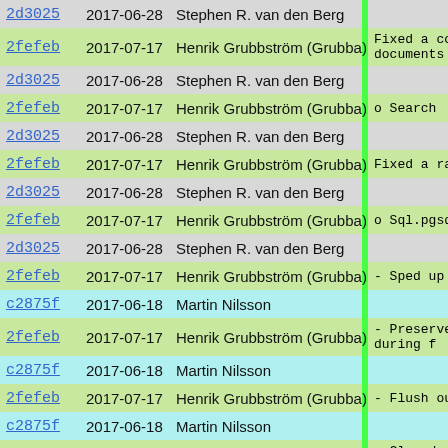| Hash | Date | Author | Message |
| --- | --- | --- | --- |
| 2d3025 | 2017-06-28 | Stephen R. van den Berg |  |
| 2fefeb | 2017-07-17 | Henrik Grubbström (Grubba) | Fixed a co documents |
| 2d3025 | 2017-06-28 | Stephen R. van den Berg |  |
| 2fefeb | 2017-07-17 | Henrik Grubbström (Grubba) | o Search |
| 2d3025 | 2017-06-28 | Stephen R. van den Berg |  |
| 2fefeb | 2017-07-17 | Henrik Grubbström (Grubba) | Fixed a ra |
| 2d3025 | 2017-06-28 | Stephen R. van den Berg |  |
| 2fefeb | 2017-07-17 | Henrik Grubbström (Grubba) | o Sql.pgsql |
| 2d3025 | 2017-06-28 | Stephen R. van den Berg |  |
| 2fefeb | 2017-07-17 | Henrik Grubbström (Grubba) | - Sped up |
| c2875f | 2017-06-18 | Martin Nilsson |  |
| 2fefeb | 2017-07-17 | Henrik Grubbström (Grubba) | - Preserve during f |
| c2875f | 2017-06-18 | Martin Nilsson |  |
| 2fefeb | 2017-07-17 | Henrik Grubbström (Grubba) | - Flush ou |
| c2875f | 2017-06-18 | Martin Nilsson |  |
| 2fefeb | 2017-07-17 | Henrik Grubbström (Grubba) | - Closed a is offu |